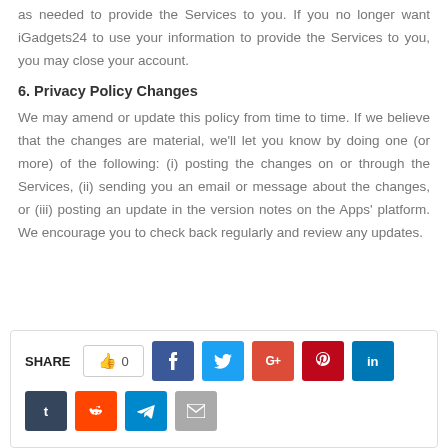as needed to provide the Services to you. If you no longer want iGadgets24 to use your information to provide the Services to you, you may close your account.
6. Privacy Policy Changes
We may amend or update this policy from time to time. If we believe that the changes are material, we’ll let you know by doing one (or more) of the following: (i) posting the changes on or through the Services, (ii) sending you an email or message about the changes, or (iii) posting an update in the version notes on the Apps’ platform. We encourage you to check back regularly and review any updates.
[Figure (infographic): Share bar with like button showing 0 likes, and social media share buttons: Facebook, Twitter, Google+, Pinterest, LinkedIn, Tumblr, Reddit, Telegram, Email]